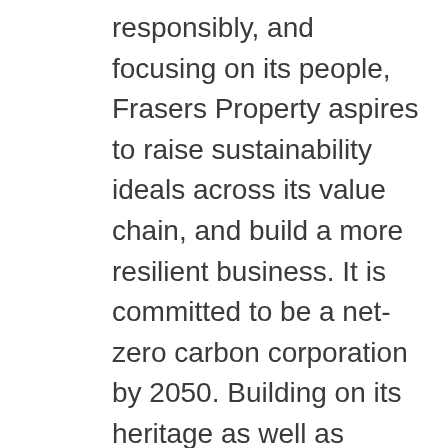responsibly, and focusing on its people, Frasers Property aspires to raise sustainability ideals across its value chain, and build a more resilient business. It is committed to be a net-zero carbon corporation by 2050. Building on its heritage as well as leveraging its knowledge and capabilities, the Group aims to create lasting shared value for its people, the businesses and communities it serves. Frasers Property believes in the diversity of its people and are invested in promoting a progressive, collaborative and respectful culture.